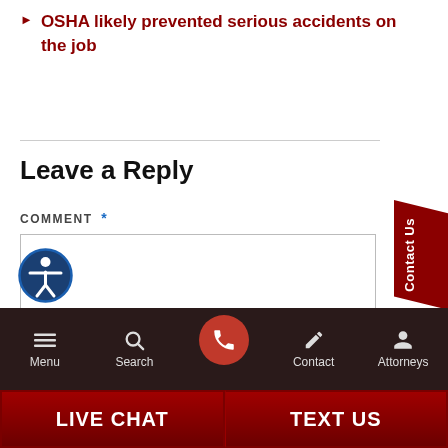OSHA likely prevented serious accidents on the job
Leave a Reply
COMMENT *
[Figure (other): Accessibility icon — person in circle with blue border]
[Figure (other): Contact Us vertical red tab on right side]
Menu | Search | [phone call button] | Contact | Attorneys
LIVE CHAT | TEXT US